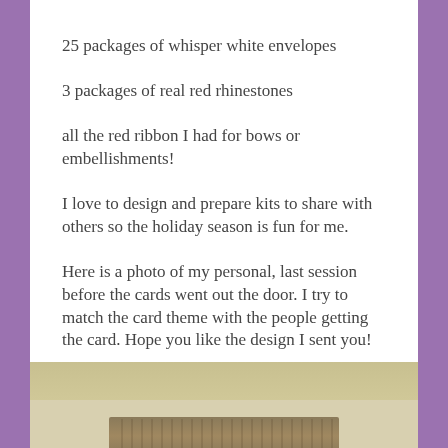25 packages of whisper white envelopes
3 packages of real red rhinestones
all the red ribbon I had for bows or embellishments!
I love to design and prepare kits to share with others so the holiday season is fun for me.
Here is a photo of my personal, last session before the cards went out the door. I try to match the card theme with the people getting the card. Hope you like the design I sent you!
[Figure (photo): Interior room photo showing a window with a decorative fabric valance/curtain and overhead lighting below it, against a neutral wall.]